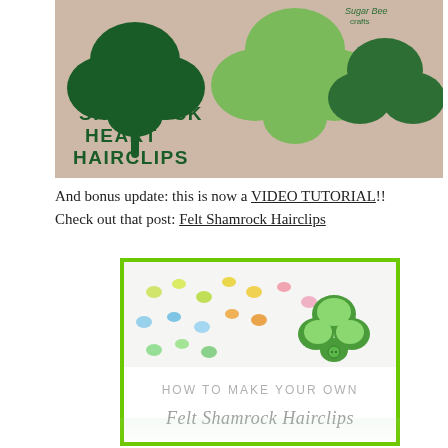[Figure (photo): Photo of felt shamrock heart hairclips on a pinkish-beige background with text overlay reading SHAMROCK HEART HAIRCLIPS in dark green bold font. Sugar Bee Crafts logo visible at top right.]
And bonus update: this is now a VIDEO TUTORIAL!!  Check out that post: Felt Shamrock Hairclips
[Figure (photo): Thumbnail image showing felt shamrock hairclip on a colorful heart-patterned background, with text overlay reading HOW TO MAKE YOUR OWN Felt Shamrock Hairclips in gray font. Green border around image.]